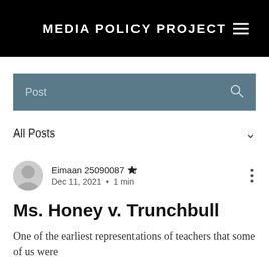MEDIA POLICY PROJECT
[Figure (screenshot): Search bar with steel blue background showing 'Post' text and search icon]
All Posts
Eimaan 25090087  Dec 11, 2021 · 1 min
Ms. Honey v. Trunchbull
One of the earliest representations of teachers that some of us were